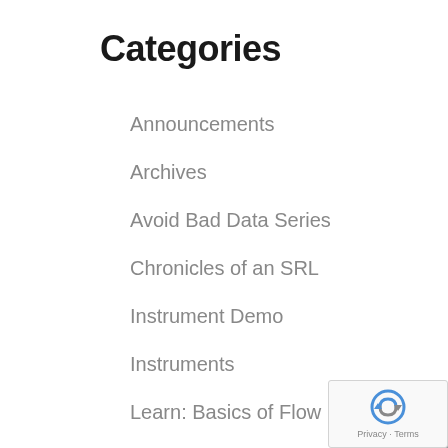Categories
Announcements
Archives
Avoid Bad Data Series
Chronicles of an SRL
Instrument Demo
Instruments
Learn: Basics of Flow
Learn: Cytometer Setup
Learn: Data Analysis